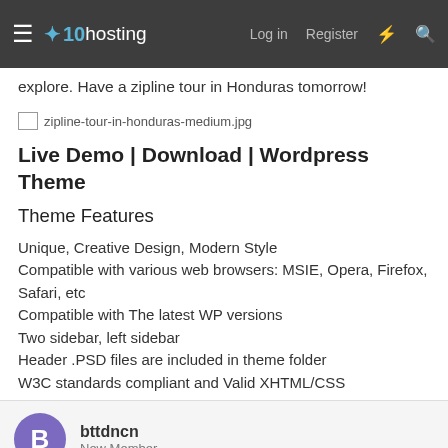x10hosting — Log in | Register
explore. Have a zipline tour in Honduras tomorrow!
[Figure (photo): Broken image placeholder for zipline-tour-in-honduras-medium.jpg]
Live Demo | Download | Wordpress Theme
Theme Features
Unique, Creative Design, Modern Style
Compatible with various web browsers: MSIE, Opera, Firefox, Safari, etc
Compatible with The latest WP versions
Two sidebar, left sidebar
Header .PSD files are included in theme folder
W3C standards compliant and Valid XHTML/CSS
bttdncn
New Member